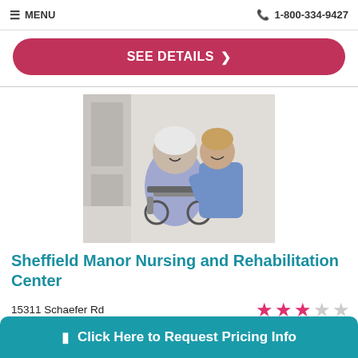MENU   1-800-334-9427
SEE DETAILS >
[Figure (photo): A male nurse in blue scrubs smiling and interacting with an elderly woman seated in a wheelchair in a hospital hallway.]
Sheffield Manor Nursing and Rehabilitation Center
15311 Schaefer Rd
Detroit, MI 48227
(5 Reviews)
Click Here to Request Pricing Info